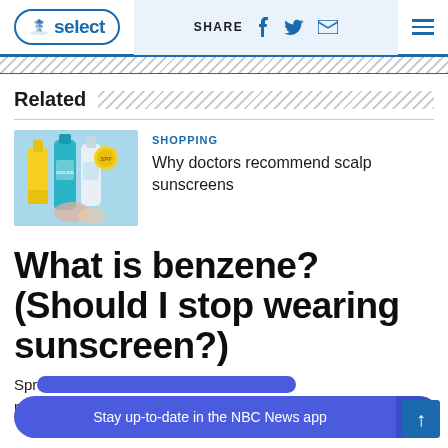NBC Select | SHARE (social icons) | Menu
Related
[Figure (photo): Sunscreen product photo showing multiple sunscreen bottles on light blue background]
SHOPPING
Why doctors recommend scalp sunscreens
What is benzene? (Should I stop wearing sunscreen?)
Spray sunscreens have been in the news recently after Johnson & Johnson voluntarily recalled five
Stay up-to-date in the NBC News app